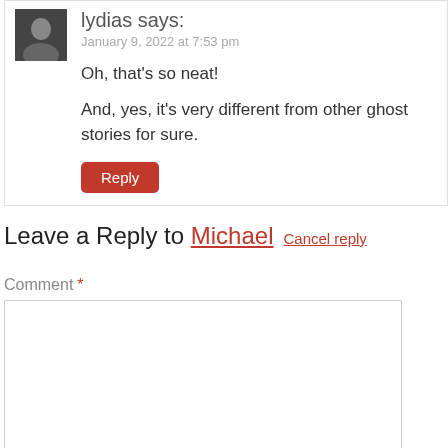lydias says:
January 9, 2022 at 7:53 pm
Oh, that's so neat!
And, yes, it's very different from other ghost stories for sure.
Reply
Leave a Reply to Michael  Cancel reply
Comment *